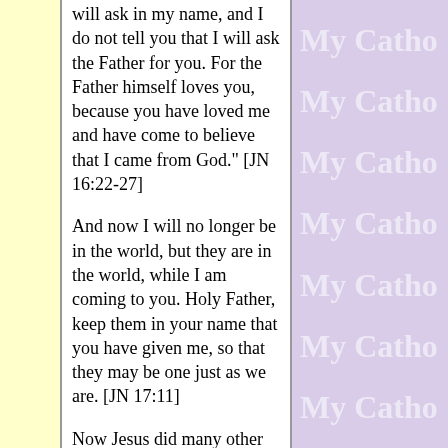will ask in my name, and I do not tell you that I will ask the Father for you. For the Father himself loves you, because you have loved me and have come to believe that I came from God." [JN 16:22-27]

And now I will no longer be in the world, but they are in the world, while I am coming to you. Holy Father, keep them in your name that you have given me, so that they may be one just as we are. [JN 17:11]

Now Jesus did many other signs in the presence of (his) disciples that are not written in this book. But
[Figure (other): Repeating watermark text 'My Catho' in light color on purple/lavender background, right side column]